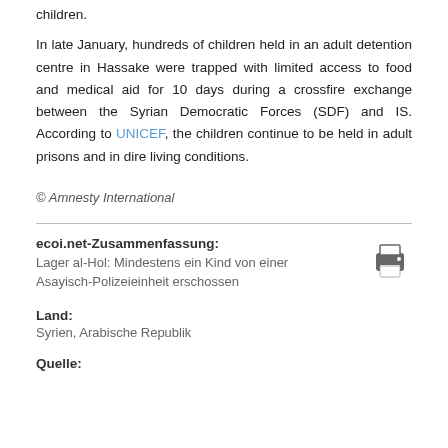children.
In late January, hundreds of children held in an adult detention centre in Hassake were trapped with limited access to food and medical aid for 10 days during a crossfire exchange between the Syrian Democratic Forces (SDF) and IS. According to UNICEF, the children continue to be held in adult prisons and in dire living conditions.
© Amnesty International
ecoi.net-Zusammenfassung:
Lager al-Hol: Mindestens ein Kind von einer Asayisch-Polizeieinheit erschossen
Land:
Syrien, Arabische Republik
Quelle: